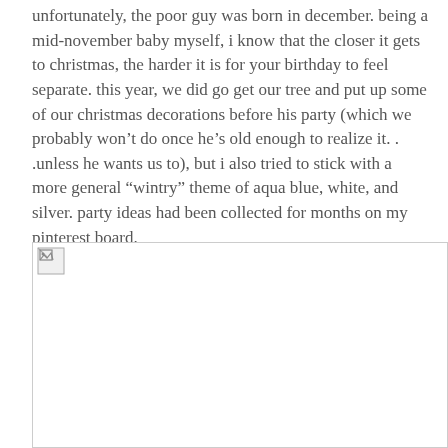unfortunately, the poor guy was born in december.  being a mid-november baby myself, i know that the closer it gets to christmas, the harder it is for your birthday to feel separate.  this year, we did go get our tree and put up some of our christmas decorations before his party (which we probably won't do once he's old enough to realize it. . .unless he wants us to), but i also tried to stick with a more general “wintry” theme of aqua blue, white, and silver.  party ideas had been collected for months on my pinterest board.
[Figure (photo): A broken/unloaded image placeholder indicated by a small broken image icon in the top-left corner of a large white bordered rectangle.]